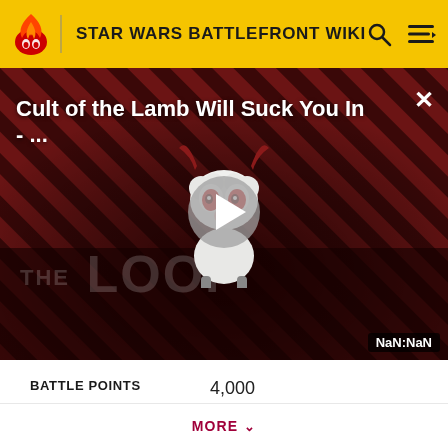STAR WARS BATTLEFRONT WIKI
[Figure (screenshot): Video thumbnail overlay showing 'Cult of the Lamb Will Suck You In - ...' with a cartoon lamb character, diagonal stripe background in red/dark tones, play button, 'THE LOOP' watermark, and NaN:NaN duration badge]
| BATTLE POINTS |  |
| --- | --- |
| BATTLE POINTS | 4,000 |
MORE